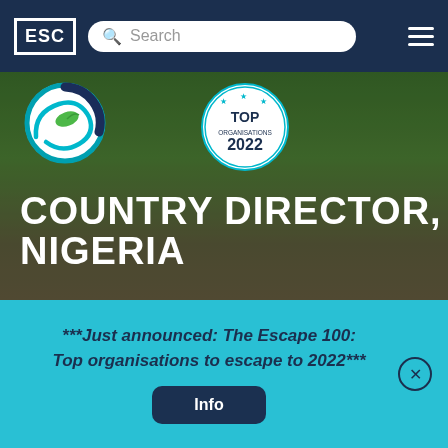ESC | Search | Navigation
[Figure (logo): TechnoServe circular logo with blue and teal swirls and green leaf]
[Figure (logo): Top Organisations 2022 badge with stars]
COUNTRY DIRECTOR, NIGERIA
The Country Director leads all aspects of TechnoServe's country level strategic branding and operations to achieve sustainable economic development in a cost-effective manner. This position serves as TechnoServe's
***Just announced: The Escape 100: Top organisations to escape to 2022***
Info